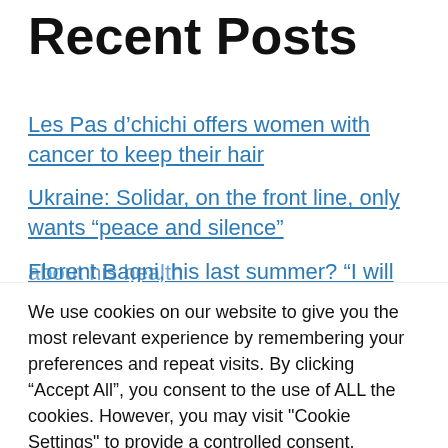Recent Posts
Les Pas d’chichi offers women with cancer to keep their hair
Ukraine: Solidar, on the front line, only wants “peace and silence”
Florent Bagni, his last summer? “I will die with a smile on my face” the latest news about his health
We use cookies on our website to give you the most relevant experience by remembering your preferences and repeat visits. By clicking “Accept All”, you consent to the use of ALL the cookies. However, you may visit "Cookie Settings" to provide a controlled consent.